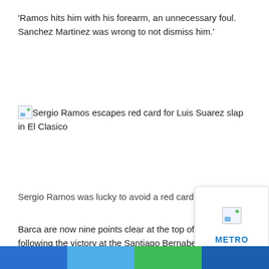'Ramos hits him with his forearm, an unnecessary foul. Sanchez Martinez was wrong to not dismiss him.'
[Figure (photo): Broken image placeholder for 'Sergio Ramos escapes red card for Luis Suarez slap in El Clasico']
Sergio Ramos was lucky to avoid a red card. (AP Photo)
Barca are now nine points clear at the top of La Liga following the victory at the Santiago Bernabeu, while the gap between themselves and Real Madrid has extended to 14 points.
Suarez gave Barcelona the lead in the second… Lionel Messi doubled Barca's advantage from… spot.
[Figure (logo): Metro logo popup overlay with broken image and METRO text]